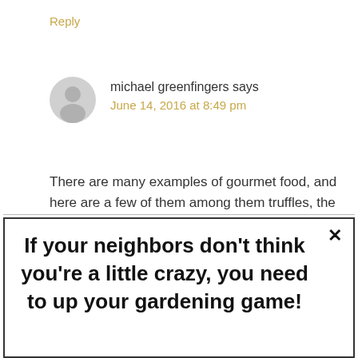Reply
michael greenfingers says
June 14, 2016 at 8:49 pm
There are many examples of gourmet food, and here are a few of them among them truffles, the most expensive of fungi. However not all food
If your neighbors don't think you're a little crazy, you need to up your gardening game!